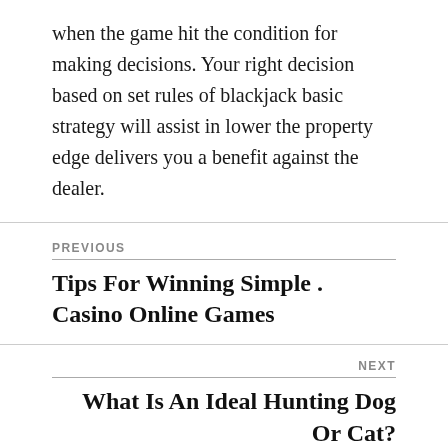when the game hit the condition for making decisions. Your right decision based on set rules of blackjack basic strategy will assist in lower the property edge delivers you a benefit against the dealer.
PREVIOUS
Tips For Winning Simple . Casino Online Games
NEXT
What Is An Ideal Hunting Dog Or Cat?
POWERED BY WORDPRESS & THEME BY ANDERS NORÉN